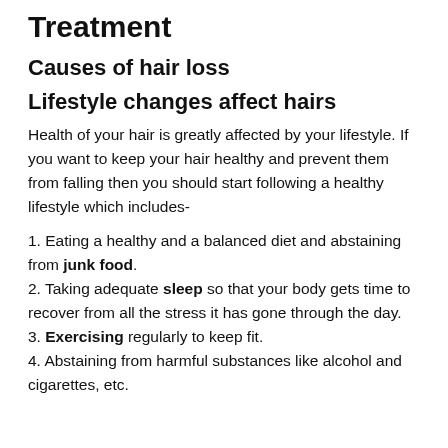Treatment
Causes of hair loss
Lifestyle changes affect hairs
Health of your hair is greatly affected by your lifestyle. If you want to keep your hair healthy and prevent them from falling then you should start following a healthy lifestyle which includes-
1. Eating a healthy and a balanced diet and abstaining from junk food.
2. Taking adequate sleep so that your body gets time to recover from all the stress it has gone through the day.
3. Exercising regularly to keep fit.
4. Abstaining from harmful substances like alcohol and cigarettes, etc.